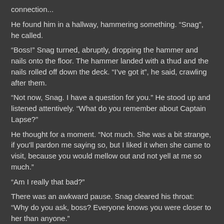connection...
He found him in a hallway, hammering something. “Snag”, he called.
“Boss!” Snag turned, abruptly, dropping the hammer and nails onto the floor. The hammer landed with a thud and the nails rolled off down the deck. “I’ve got it”, he said, crawling after them.
“Not now, Snag. I have a question for you.” He stood up and listened attentively. “What do you remember about Captain Lapse?”
He thought for a moment. “Not much. She was a bit strange, if you'll pardon me saying so, but I liked it when she came to visit, because you would mellow out and not yell at me so much.”
“Am I really that bad?”
There was an awkward pause. Snag cleared his throat: “Why do you ask, boss? Everyone knows you were closer to her than anyone.”
“That is what makes it so sad.” he said, walking away.